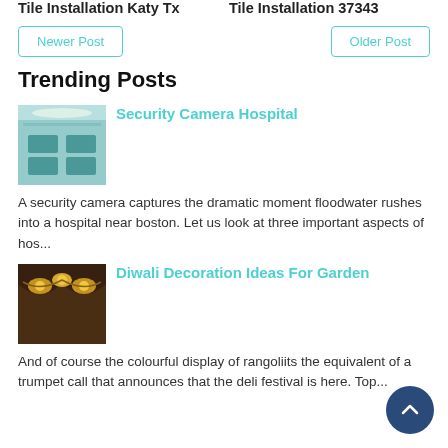Tile Installation Katy Tx
Tile Installation 37343
Newer Post
Older Post
Trending Posts
[Figure (photo): Hospital operating room interior with teal surgical tables and bright overhead lights]
Security Camera Hospital
A security camera captures the dramatic moment floodwater rushes into a hospital near boston. Let us look at three important aspects of hos...
[Figure (photo): Dark brown curtain decorated with yellow marigold garland, Diwali decoration]
Diwali Decoration Ideas For Garden
And of course the colourful display of rangoliits the equivalent of a trumpet call that announces that the deli festival is here. Top...